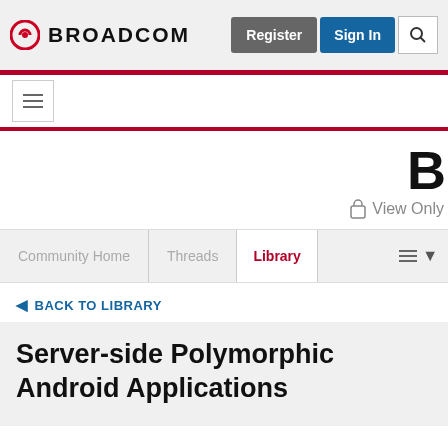BROADCOM
[Figure (screenshot): Broadcom community website navigation header with Register, Sign In, and Search buttons]
View Only
Community Home | Threads | Library
◂ BACK TO LIBRARY
Server-side Polymorphic Android Applications